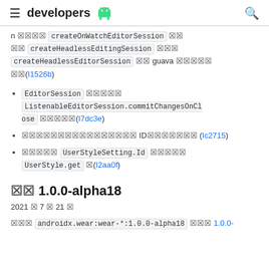≡ developers [android] 🔍
n 䶿䶿 createOnWatchEditorSession 䶿䶿 䶿䶿 createHeadlessEditingSession 䶿䶿 createHeadlessEditorSession 䶿䶿 guava 䶿䶿 (I1526b)
EditorSession 䶿䶿 ListenableEditorSession.commitChangesOnClose 䶿䶿(I7dc3e)
䶿䶿 ID䶿䶿 (Ic2715)
䶿䶿 UserStyleSetting.Id 䶿䶿 UserStyle.get 䶿(I2aa0f)
䶿䶿 1.0.0-alpha18
2021 䶿 7 䶿 21 䶿
䶿䶿 androidx.wear:wear-*:1.0.0-alpha18 䶿䶿 1.0.0-